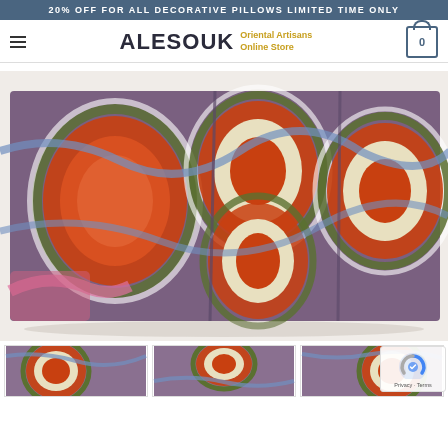20% OFF FOR ALL DECORATIVE PILLOWS LIMITED TIME ONLY
ALESOUK Oriental Artisans Online Store
[Figure (photo): A folded ikat-patterned fabric/textile table runner featuring bold orange, green, white, blue, and pink geometric floral motifs on a mauve-brown background, displayed on a light surface.]
[Figure (photo): Thumbnail row showing three partial images of the same ikat fabric product from different angles.]